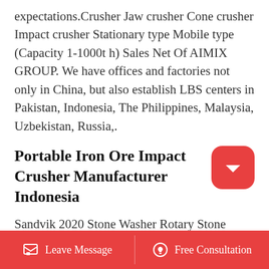expectations.Crusher Jaw crusher Cone crusher Impact crusher Stationary type Mobile type (Capacity 1-1000t h) Sales Net Of AIMIX GROUP. We have offices and factories not only in China, but also establish LBS centers in Pakistan, Indonesia, The Philippines, Malaysia, Uzbekistan, Russia,.
Portable Iron Ore Impact Crusher Manufacturer Indonesia
Sandvik 2020 Stone Washer Rotary Stone Washer Sand Washing Machine Sandvik Stone washer rotary stone washer sand washing machine rotary scrubber supplier Product Introduction Drum stone washing machine is a new type of stone washing equipment developed by our company
Leave Message   Free Consultation